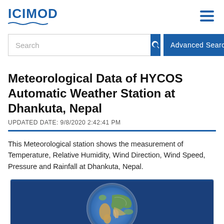ICIMOD
Search
Advanced Search
Meteorological Data of HYCOS Automatic Weather Station at Dhankuta, Nepal
UPDATED DATE: 9/8/2020 2:42:41 PM
This Meteorological station shows the measurement of Temperature, Relative Humidity, Wind Direction, Wind Speed, Pressure and Rainfall at Dhankuta, Nepal.
[Figure (photo): Globe image showing Asia and surrounding regions on a blue background]